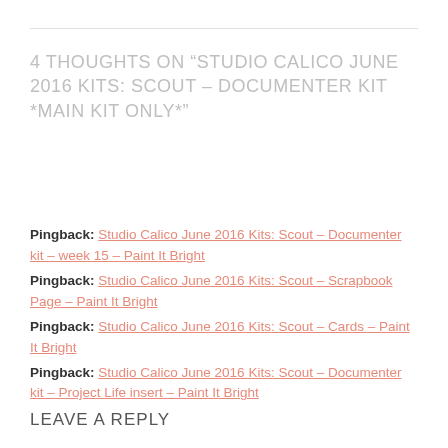4 THOUGHTS ON “STUDIO CALICO JUNE 2016 KITS: SCOUT – DOCUMENTER KIT *MAIN KIT ONLY*”
Pingback: Studio Calico June 2016 Kits: Scout – Documenter kit – week 15 – Paint It Bright
Pingback: Studio Calico June 2016 Kits: Scout – Scrapbook Page – Paint It Bright
Pingback: Studio Calico June 2016 Kits: Scout – Cards – Paint It Bright
Pingback: Studio Calico June 2016 Kits: Scout – Documenter kit – Project Life insert – Paint It Bright
LEAVE A REPLY